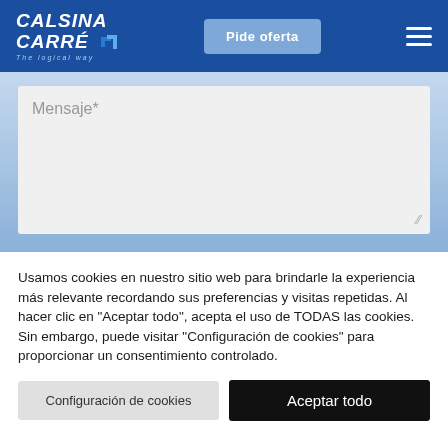CALSINA CARRÉ — The logical way — Pide oferta
[Figure (screenshot): Text input area with placeholder text 'Mensaje*' on a light gray background with resize handle]
Usamos cookies en nuestro sitio web para brindarle la experiencia más relevante recordando sus preferencias y visitas repetidas. Al hacer clic en "Aceptar todo", acepta el uso de TODAS las cookies. Sin embargo, puede visitar "Configuración de cookies" para proporcionar un consentimiento controlado.
Configuración de cookies | Aceptar todo